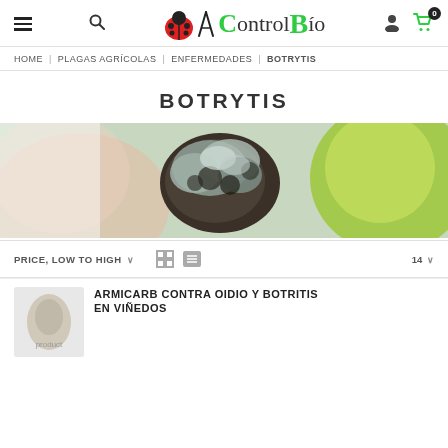Control Bio — HOME | PLAGAS AGRÍCOLAS | ENFERMEDADES | BOTRYTIS
BOTRYTIS
[Figure (photo): Close-up photo of botrytis (gray mold) fungal infection on a plant stem, with a green fruit visible in the background.]
PRICE, LOW TO HIGH ∨   [grid icon] [list icon]   14 ∨
ARMICARB CONTRA OIDIO Y BOTRITIS EN VIÑEDOS